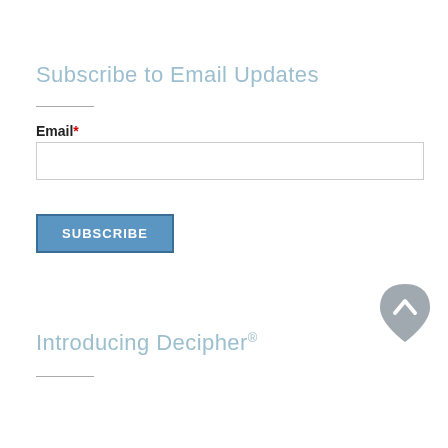Subscribe to Email Updates
Email*
[Figure (screenshot): Email input text field, empty, with border]
[Figure (screenshot): Subscribe button, blue, uppercase text SUBSCRIBE]
[Figure (illustration): Back to top button — grey teardrop/shield shape with upward chevron arrow]
Introducing Decipher®